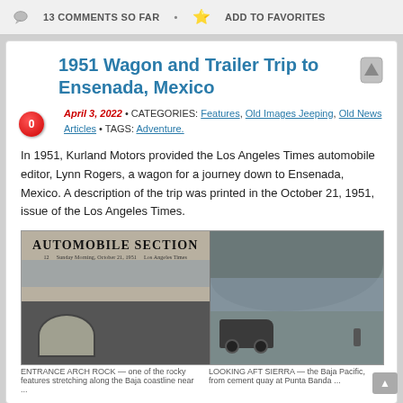13 COMMENTS SO FAR • ADD TO FAVORITES
1951 Wagon and Trailer Trip to Ensenada, Mexico
April 3, 2022 • CATEGORIES: Features, Old Images Jeeping, Old News Articles • TAGS: Adventure.
In 1951, Kurland Motors provided the Los Angeles Times automobile editor, Lynn Rogers, a wagon for a journey down to Ensenada, Mexico. A description of the trip was printed in the October 21, 1951, issue of the Los Angeles Times.
[Figure (photo): Scanned newspaper page showing the Los Angeles Times Automobile Section from October 21, 1951, with photos of rocky coastline and a Jeep wagon at Ensenada Mexico.]